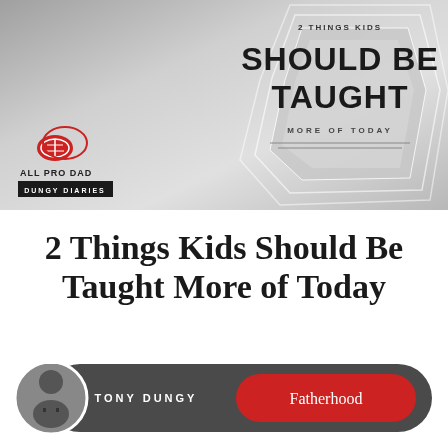[Figure (illustration): Banner image with hexagonal geometric design on grey gradient background showing '2 Things Kids Should Be Taught More of Today' title, All Pro Dad logo and Dungy Diaries badge]
2 Things Kids Should Be Taught More of Today
[Figure (infographic): Author bar showing Tony Dungy photo, name 'TONY DUNGY' in white text on dark background, and red pill-shaped 'Fatherhood' category label]